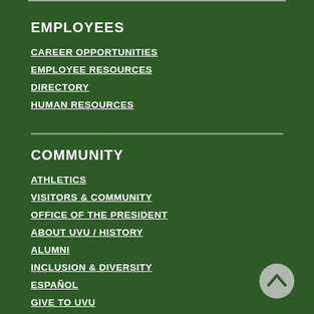EMPLOYEES
CAREER OPPORTUNITIES
EMPLOYEE RESOURCES
DIRECTORY
HUMAN RESOURCES
COMMUNITY
ATHLETICS
VISITORS & COMMUNITY
OFFICE OF THE PRESIDENT
ABOUT UVU / HISTORY
ALUMNI
INCLUSION & DIVERSITY
ESPAÑOL
GIVE TO UVU
CONTACT US